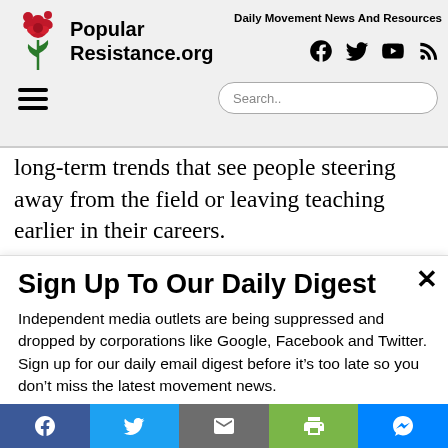Popular Resistance.org — Daily Movement News And Resources
long-term trends that see people steering away from the field or leaving teaching earlier in their careers.
Sign Up To Our Daily Digest
Independent media outlets are being suppressed and dropped by corporations like Google, Facebook and Twitter. Sign up for our daily email digest before it's too late so you don't miss the latest movement news.
Email